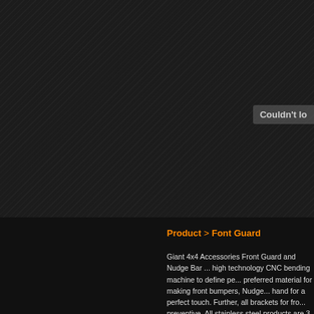[Figure (screenshot): Dark textured background with diagonal line pattern, with a partially visible grey badge reading "Couldn't lo" in the upper right area]
Product > Font Guard
Giant 4x4 Accessories Front Guard and Nudge Bar ... high technology CNC bending machine to define pe... preferred material for making front bumpers, Nudge... hand for a perfect touch. Further, all brackets for fro... preventive. All stainless steel products are 3 years w... Enjoy your search and welcome to Giant 4x4 Acces...